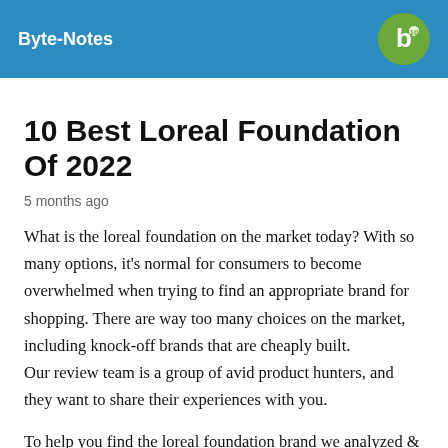Byte-Notes
10 Best Loreal Foundation Of 2022
5 months ago
What is the loreal foundation on the market today? With so many options, it's normal for consumers to become overwhelmed when trying to find an appropriate brand for shopping. There are way too many choices on the market, including knock-off brands that are cheaply built. Our review team is a group of avid product hunters, and they want to share their experiences with you.
To help you find the loreal foundation brand we analyzed & researched all the features that are right for you and came up with a list of 10 different options to purchase.